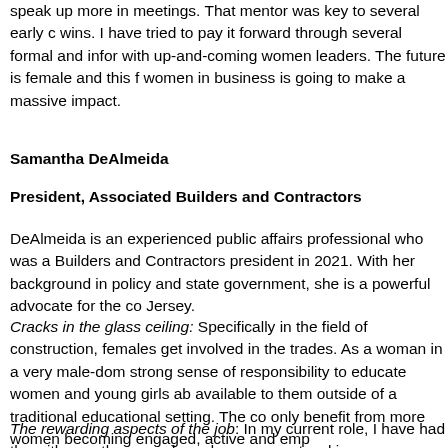speak up more in meetings. That mentor was key to several early wins. I have tried to pay it forward through several formal and informal with up-and-coming women leaders. The future is female and this f women in business is going to make a massive impact.
Samantha DeAlmeida
President, Associated Builders and Contractors
DeAlmeida is an experienced public affairs professional who was a Builders and Contractors president in 2021. With her background in policy and state government, she is a powerful advocate for the co Jersey.
Cracks in the glass ceiling: Specifically in the field of construction, females get involved in the trades. As a woman in a very male-dom strong sense of responsibility to educate women and young girls ab available to them outside of a traditional educational setting. The c only benefit from more women becoming engaged, active and emp
The rewarding aspects of the job: In my current role, I have had the with countless people and grow my networking substantially. This r into the best version of myself. Through my leadership experience to be confident and recognize my value, which may be the best ben